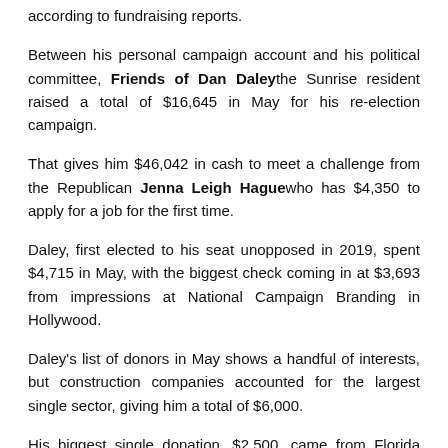according to fundraising reports.
Between his personal campaign account and his political committee, Friends of Dan Daley the Sunrise resident raised a total of $16,645 in May for his re-election campaign.
That gives him $46,042 in cash to meet a challenge from the Republican Jenna Leigh Hague who has $4,350 to apply for a job for the first time.
Daley, first elected to his seat unopposed in 2019, spent $4,715 in May, with the biggest check coming in at $3,693 from impressions at National Campaign Branding in Hollywood.
Daley's list of donors in May shows a handful of interests, but construction companies accounted for the largest single sector, giving him a total of $6,000.
His biggest single donation, $2,500, came from Florida East Coast Industries, a Miami-based land development company and a legacy of the famed industrialist. Henry MorrissonFlagler.